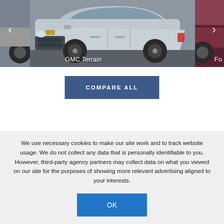[Figure (photo): Car carousel showing a silver GMC Terrain SUV in the center panel, a partial dark vehicle on the left strip, and a partial red/maroon vehicle on the right. Left and right navigation arrows are visible.]
GMC Terrain
Fo
COMPARE ALL
We use necessary cookies to make our site work and to track website usage. We do not collect any data that is personally identifiable to you. However, third-party agency partners may collect data on what you viewed on our site for the purposes of showing more relevant advertising aligned to your interests.
OK